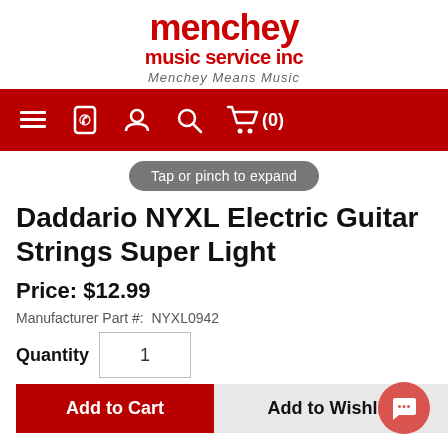[Figure (logo): Menchey Music Service Inc logo with tagline 'Menchey Means Music']
[Figure (screenshot): Navigation bar with hamburger menu, phone, user, search, and cart (0) icons on red background]
Tap or pinch to expand
Daddario NYXL Electric Guitar Strings Super Light
Price: $12.99
Manufacturer Part #:  NYXL0942
Quantity  1
Add to Cart   Add to Wishlist